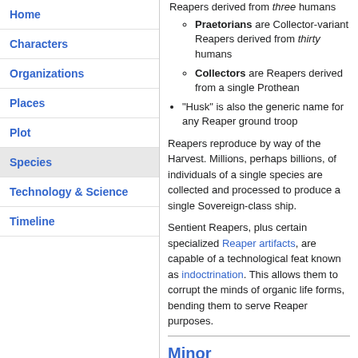Home
Characters
Organizations
Places
Plot
Species
Technology & Science
Timeline
Praetorians are Collector-variant Reapers derived from thirty humans
Collectors are Reapers derived from a single Prothean
“Husk” is also the generic name for any Reaper ground troop
Reapers reproduce by way of the Harvest. Millions, perhaps billions, of individuals of a single species are collected and processed to produce a single Sovereign-class ship.
Sentient Reapers, plus certain specialized Reaper artifacts, are capable of a technological feat known as indoctrination. This allows them to corrupt the minds of organic life forms, bending them to serve Reaper purposes.
Minor